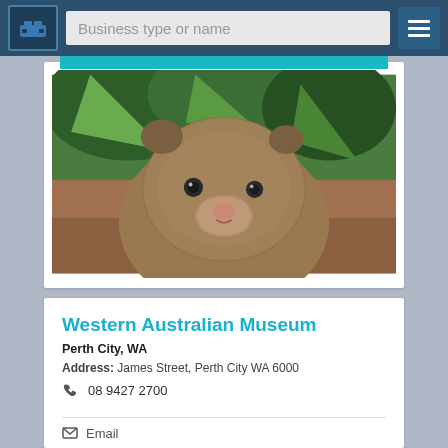Business type or name
[Figure (photo): Close-up photo of a wombat face with dark eyes and furry brown head, surrounded by green foliage and brown bark background]
Western Australian Museum
Perth City, WA
Address: James Street, Perth City WA 6000
08 9427 2700
Email